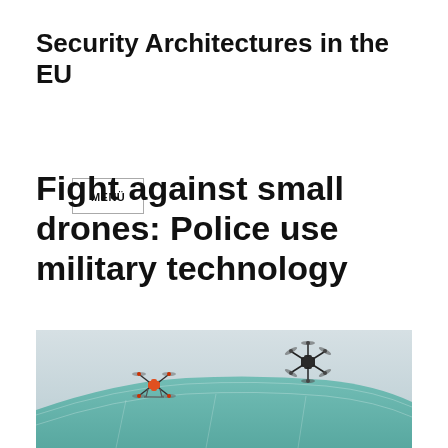Security Architectures in the EU
MENÜ
Fight against small drones: Police use military technology
[Figure (photo): Two small drones (one orange/red multi-rotor on the left, one dark multi-rotor on the right) flying in a grey-blue sky above a curved green/teal roof structure.]